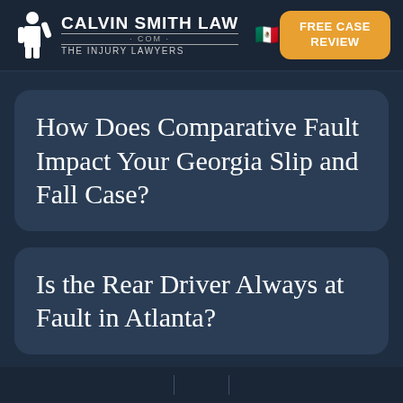[Figure (logo): Calvin Smith Law .com The Injury Lawyers logo with silhouette figure, text, and Mexican flag emoji]
FREE CASE REVIEW
How Does Comparative Fault Impact Your Georgia Slip and Fall Case?
Is the Rear Driver Always at Fault in Atlanta?